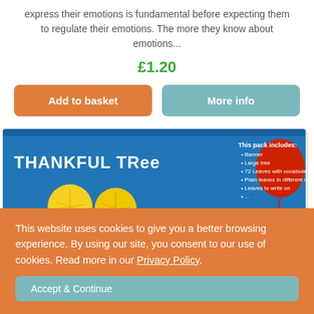express their emotions is fundamental before expecting them to regulate their emotions. The more they know about emotions...
£1.20
Add to basket
More info
[Figure (photo): Product image showing a 'Thankful Tree' educational resource pack with blue background, yellow leaf decorations, red balloon, and text listing pack contents: Banner, Large tree, 72 Leaves with vocabulary, Plain leaves in different colours, Leaves to write on]
This website uses cookies to give you a better browsing experience. By using our site, you consent to our use of cookies. Read more in our Privacy Policy.
Accept & Continue